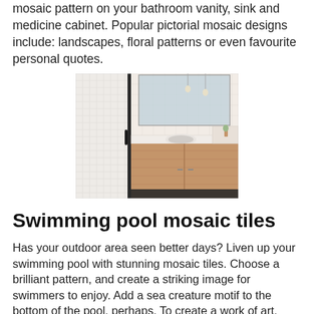mosaic pattern on your bathroom vanity, sink and medicine cabinet. Popular pictorial mosaic designs include: landscapes, floral patterns or even favourite personal quotes.
[Figure (photo): Photograph of a modern bathroom interior showing a white wall with small tile pattern, dark-framed shower door on the left, warm wood-toned vanity cabinet, white sink countertop, large mirror, and pendant lights.]
Swimming pool mosaic tiles
Has your outdoor area seen better days? Liven up your swimming pool with stunning mosaic tiles. Choose a brilliant pattern, and create a striking image for swimmers to enjoy. Add a sea creature motif to the bottom of the pool, perhaps. To create a work of art, decorate your pool with our Aquarelle Turquoise tiles.